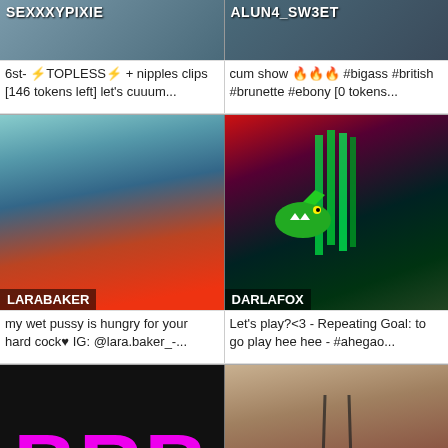[Figure (screenshot): Webcam thumbnail for SEXXXYPIXIE, dark toned image]
SEXXXYPIXIE
6st- ⚡TOPLESS⚡ + nipples clips [146 tokens left] let's cuuum...
[Figure (screenshot): Webcam thumbnail for ALUN4_SW3ET, dark toned image]
ALUN4_SW3ET
cum show 🔥🔥🔥 #bigass #british #brunette #ebony [0 tokens...
[Figure (screenshot): Webcam thumbnail for LARABAKER, woman in red top]
LARABAKER
my wet pussy is hungry for your hard cock♥ IG: @lara.baker_-...
[Figure (screenshot): Webcam thumbnail for DARLAFOX, woman with green hair and cat ears, dinosaur toy]
DARLAFOX
Let's play?<3 - Repeating Goal: to go play hee hee - #ahegao...
[Figure (screenshot): Webcam thumbnail for HALLE_CARTER, black screen with BRB in magenta]
HALLE_CARTER
#fuckm achine #british #tease...
[Figure (screenshot): Webcam thumbnail for LOGAN_HODSON, slim male figure]
LOGAN_HODSON
Hey Im new here welcome - Multi...